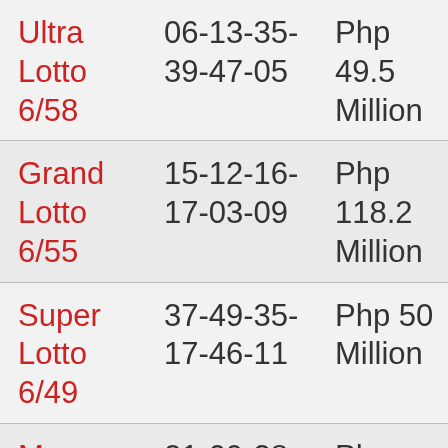| Game | Winning Numbers | Jackpot Prize |
| --- | --- | --- |
| Ultra Lotto 6/58 | 06-13-35-39-47-05 | Php 49.5 Million |
| Grand Lotto 6/55 | 15-12-16-17-03-09 | Php 118.2 Million |
| Super Lotto 6/49 | 37-49-35-17-46-11 | Php 50 Million |
| Mega Lotto | 21-09-38- | Php 18.7 |